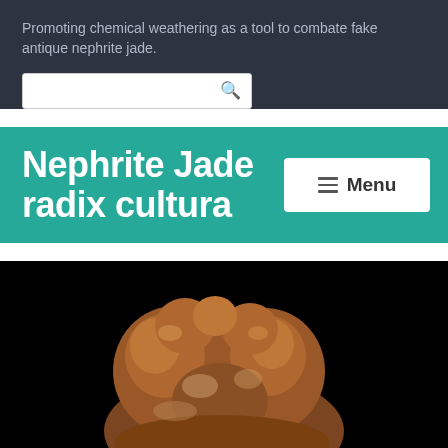Promoting chemical weathering as a tool to combate fake antique nephrite jade.
[Figure (screenshot): Search bar with magnifying glass icon on dark background]
Nephrite Jade radix cultura
[Figure (other): Menu button with three horizontal lines icon]
[Figure (photo): Brown nephrite jade artifact figurine photographed against black background]
Follow ...